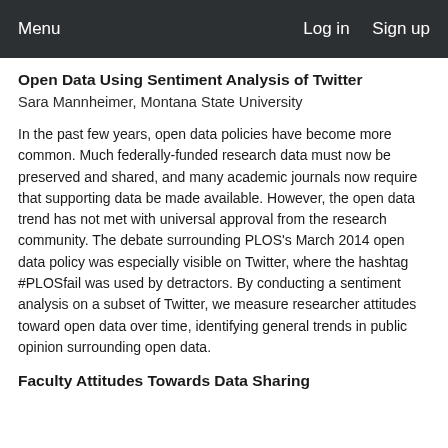Menu   Log in   Sign up
Open Data Using Sentiment Analysis of Twitter
Sara Mannheimer, Montana State University
In the past few years, open data policies have become more common. Much federally-funded research data must now be preserved and shared, and many academic journals now require that supporting data be made available. However, the open data trend has not met with universal approval from the research community. The debate surrounding PLOS's March 2014 open data policy was especially visible on Twitter, where the hashtag #PLOSfail was used by detractors. By conducting a sentiment analysis on a subset of Twitter, we measure researcher attitudes toward open data over time, identifying general trends in public opinion surrounding open data.
Faculty Attitudes Towards Data Sharing